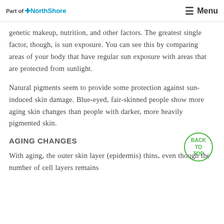Part of NorthShore | Menu
genetic makeup, nutrition, and other factors. The greatest single factor, though, is sun exposure. You can see this by comparing areas of your body that have regular sun exposure with areas that are protected from sunlight.
Natural pigments seem to provide some protection against sun-induced skin damage. Blue-eyed, fair-skinned people show more aging skin changes than people with darker, more heavily pigmented skin.
AGING CHANGES
With aging, the outer skin layer (epidermis) thins, even though the number of cell layers remains